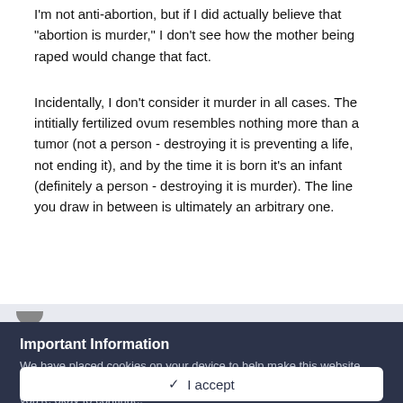I'm not anti-abortion, but if I did actually believe that "abortion is murder," I don't see how the mother being raped would change that fact.
Incidentally, I don't consider it murder in all cases. The intitially fertilized ovum resembles nothing more than a tumor (not a person - destroying it is preventing a life, not ending it), and by the time it is born it's an infant (definitely a person - destroying it is murder). The line you draw in between is ultimately an arbitrary one.
Important Information
We have placed cookies on your device to help make this website better. You can adjust your cookie settings, otherwise we'll assume you're okay to continue.
✓  I accept